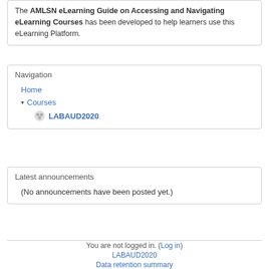The AMLSN eLearning Guide on Accessing and Navigating eLearning Courses has been developed to help learners use this eLearning Platform.
Navigation
Home
▾ Courses
LABAUD2020
Latest announcements
(No announcements have been posted yet.)
You are not logged in. (Log in)
LABAUD2020
Data retention summary
Get the mobile app